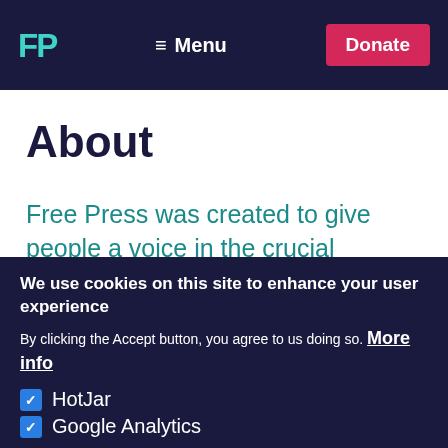FP  Menu  Donate
About
Free Press was created to give people a voice in the crucial decisions that shape our media.
We believe that positive social change,
We use cookies on this site to enhance your user experience
By clicking the Accept button, you agree to us doing so.  More info
HotJar
Google Analytics